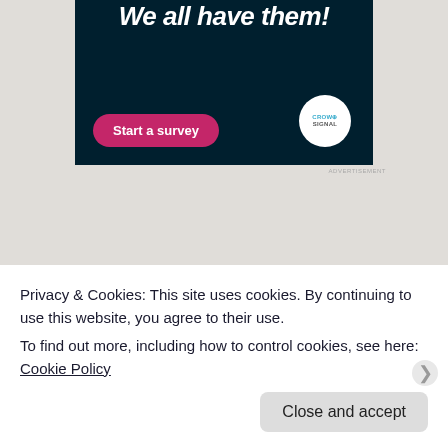[Figure (screenshot): Advertisement banner with dark navy background showing text 'We all have them!' in white italic bold font, a pink 'Start a survey' button, and Crowdsignal logo in white circle]
ADVERTISEMENT
Grace   September 19, 2020
Books, Film and TV
Privacy & Cookies: This site uses cookies. By continuing to use this website, you agree to their use.
To find out more, including how to control cookies, see here: Cookie Policy